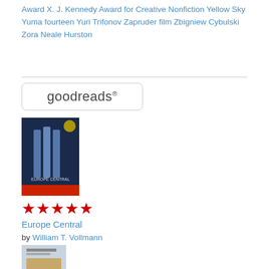Award X. J. Kennedy Award for Creative Nonfiction Yellow Sky Yuma fourteen Yuri Trifonov Zapruder film Zbigniew Cybulski Zora Neale Hurston
[Figure (logo): Goodreads logo in a rounded rectangle box]
[Figure (photo): Book cover of Europe Central]
★★★★★
Europe Central
by William T. Vollmann
[Figure (photo): Book cover of The Changeling]
★★★★★
The Changeling
by Joy Williams
[Figure (photo): Book cover partially visible at bottom]